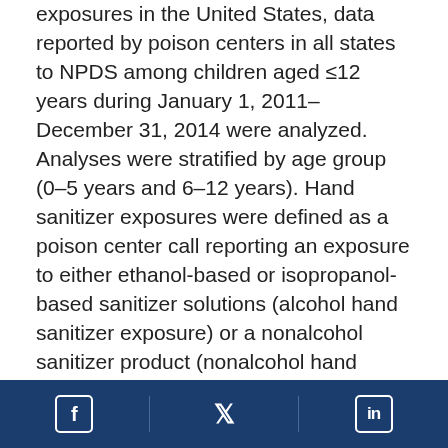exposures in the United States, data reported by poison centers in all states to NPDS among children aged ≤12 years during January 1, 2011–December 31, 2014 were analyzed. Analyses were stratified by age group (0–5 years and 6–12 years). Hand sanitizer exposures were defined as a poison center call reporting an exposure to either ethanol-based or isopropanol-based sanitizer solutions (alcohol hand sanitizer exposure) or a nonalcohol sanitizer product (nonalcohol hand sanitizer exposure). Calls reporting co-exposures to other agents were excluded to minimize confounding effects.
Descriptive statistics were compiled for exposed children's age, year and season of exposure, intentionality of exposure, route of exposure (ingestion, inhalation, dermal, or ocular), reported
[Facebook icon] [Twitter icon] [LinkedIn icon]